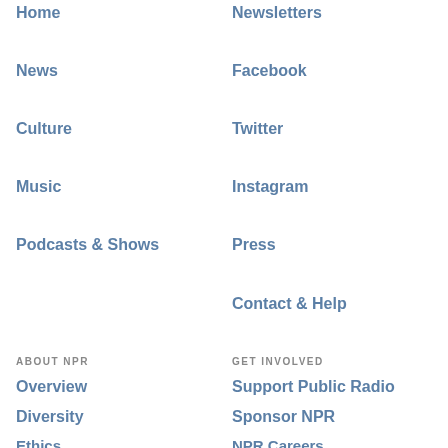Home
Newsletters
News
Facebook
Culture
Twitter
Music
Instagram
Podcasts & Shows
Press
Contact & Help
ABOUT NPR
GET INVOLVED
Overview
Support Public Radio
Diversity
Sponsor NPR
Ethics
NPR Careers
Finances
NPR Shop
Public Editor
NPR Events
Corrections
NPR Extra